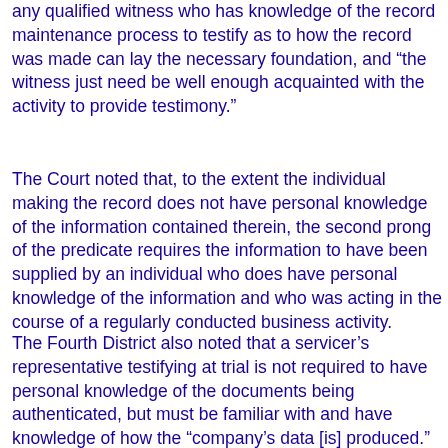any qualified witness who has knowledge of the record maintenance process to testify as to how the record was made can lay the necessary foundation, and "the witness just need be well enough acquainted with the activity to provide testimony."
The Court noted that, to the extent the individual making the record does not have personal knowledge of the information contained therein, the second prong of the predicate requires the information to have been supplied by an individual who does have personal knowledge of the information and who was acting in the course of a regularly conducted business activity.
The Fourth District also noted that a servicer's representative testifying at trial is not required to have personal knowledge of the documents being authenticated, but must be familiar with and have knowledge of how the "company's data [is] produced."  If a servicer's